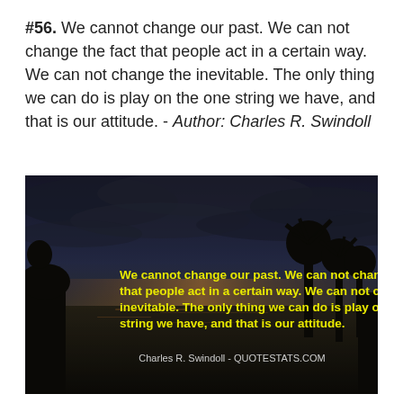#56. We cannot change our past. We can not change the fact that people act in a certain way. We can not change the inevitable. The only thing we can do is play on the one string we have, and that is our attitude. - Author: Charles R. Swindoll
[Figure (photo): Dark atmospheric landscape photo with a lake/water reflection, dramatic cloudy sky, silhouetted trees and large sculptural tree-like structures. Overlaid in yellow bold text: 'We cannot change our past. We can not change the fact that people act in a certain way. We can not change the inevitable. The only thing we can do is play on the one string we have, and that is our attitude.' Attribution in white: 'Charles R. Swindoll - QUOTESTATS.COM']